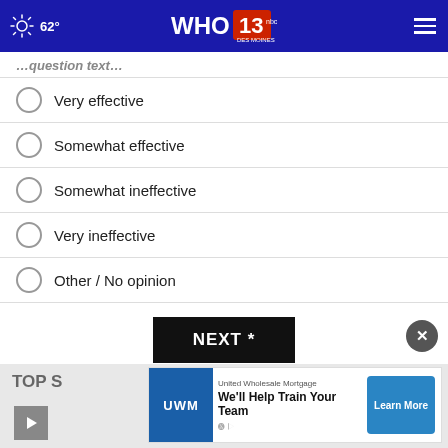62° WHO 13 Des Moines NBC
(partial question text — cropped)
Very effective
Somewhat effective
Somewhat ineffective
Very ineffective
Other / No opinion
NEXT *
* By clicking "NEXT" you agree to the following: We use cookies to track your survey answers. If you would like to continue with this survey, please read and agree to the CivicScience Privacy Policy and Terms of Service
TOP S  United Wholesale Mortgage — We'll Help Train Your Team — Learn More